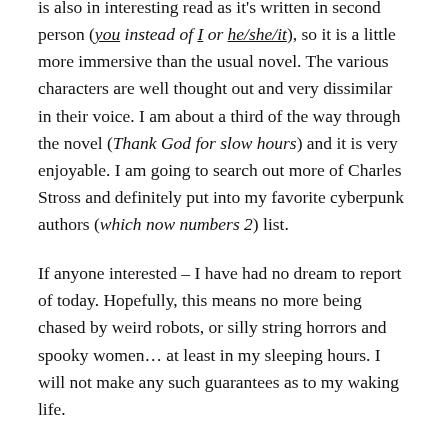is also in interesting read as it's written in second person (you instead of I or he/she/it), so it is a little more immersive than the usual novel. The various characters are well thought out and very dissimilar in their voice. I am about a third of the way through the novel (Thank God for slow hours) and it is very enjoyable. I am going to search out more of Charles Stross and definitely put into my favorite cyberpunk authors (which now numbers 2) list.
If anyone interested – I have had no dream to report of today. Hopefully, this means no more being chased by weird robots, or silly string horrors and spooky women… at least in my sleeping hours. I will not make any such guarantees as to my waking life.
Have a good day.